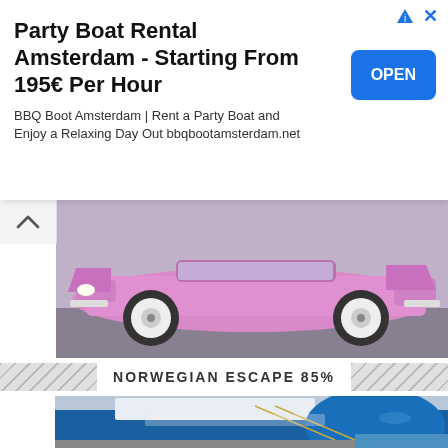[Figure (screenshot): Advertisement banner: Party Boat Rental Amsterdam - Starting From 195€ Per Hour. BBQ Boot Amsterdam | Rent a Party Boat and Enjoy a Relaxing Day Out bbqbootamsterdam.net. Blue OPEN button on right. Ad icons top right.]
[Figure (photo): Photo of a pink classic car (convertible) from the rear/side, parked on a road, white wall tires visible.]
NORWEGIAN ESCAPE 85%
[Figure (photo): Photo of the Norwegian Escape cruise ship docked at a pier, showing the blue bow with decorative fish and bird artwork, mooring lines visible, overcast sky and hills in background.]